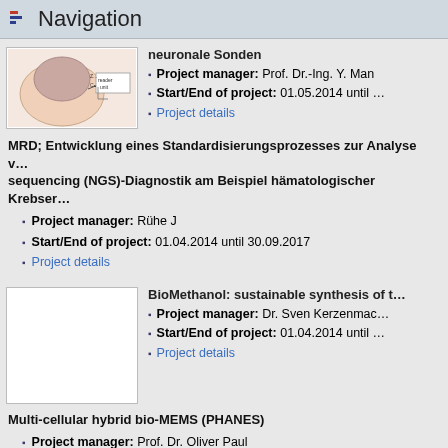Navigation
[Figure (illustration): Illustration of a human head with brain and electronic circuit diagram showing neural probes/reader unit]
neuronale Sonden
Project manager: Prof. Dr.-Ing. Y. Man
Start/End of project: 01.05.2014 until ...
Project details
MRD; Entwicklung eines Standardisierungsprozesses zur Analyse v... sequencing (NGS)-Diagnostik am Beispiel hämatologischer Krebser...
Project manager: Rühe J
Start/End of project: 01.04.2014 until 30.09.2017
Project details
[Figure (illustration): White/blank image placeholder for BioMethanol project]
BioMethanol: sustainable synthesis of t...
Project manager: Dr. Sven Kerzenmac...
Start/End of project: 01.04.2014 until ...
Project details
Multi-cellular hybrid bio-MEMS (PHANES)
Project manager: Prof. Dr. Oliver Paul